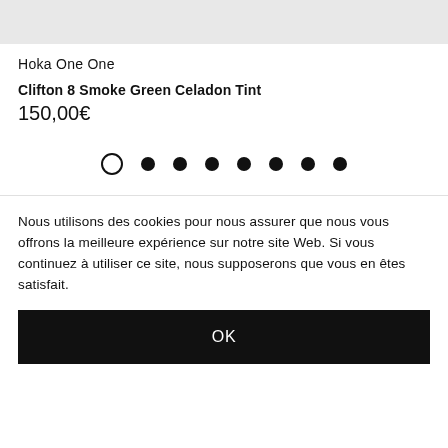[Figure (photo): Product image placeholder (light gray background)]
Hoka One One
Clifton 8 Smoke Green Celadon Tint
150,00€
[Figure (other): Color selector dots: one empty circle (selected) followed by seven filled black circles]
Nous utilisons des cookies pour nous assurer que nous vous offrons la meilleure expérience sur notre site Web. Si vous continuez à utiliser ce site, nous supposerons que vous en êtes satisfait.
OK